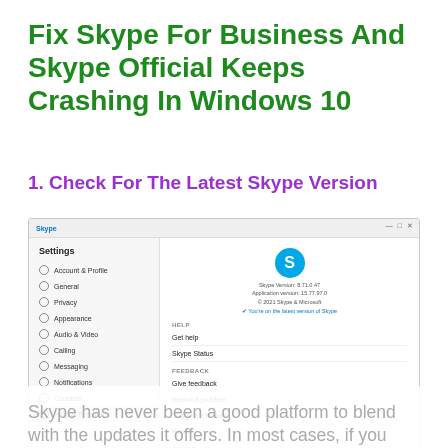Fix Skype For Business And Skype Official Keeps Crashing In Windows 10
1. Check For The Latest Skype Version
[Figure (screenshot): Screenshot of Skype Settings window showing 'Help & Feedback' section selected in the sidebar. The right panel shows the Skype logo, version information (Skype Version: 8.71.0.47, Application version: 15.77.97.0), and menu items including Get help, Skype Status under HELP section, Give feedback, Report a problem, Suggest a feature, Rate us under FEEDBACK section, and Third-Party Notices under ABOUT section.]
Skype has never been a good platform to blend with the updates it offers. In most cases, if you